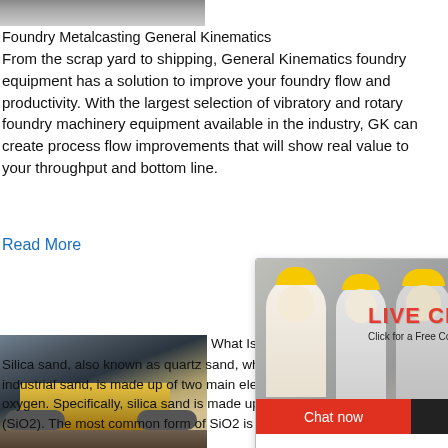[Figure (photo): Top partial image strip - industrial/metalcasting equipment]
Foundry Metalcasting General Kinematics
From the scrap yard to shipping, General Kinematics foundry equipment has a solution to improve your foundry flow and productivity. With the largest selection of vibratory and rotary foundry machinery equipment available in the industry, GK can create process flow improvements that will show real value to your throughput and bottom line.
Read More
[Figure (photo): Live chat popup with woman in white shirt and workers in yellow hard hats in background. Contains LIVE CHAT heading, Click for a Free Consultation text, Chat now and Chat later buttons.]
[Figure (photo): Mining/construction equipment on site - mobile crusher or conveyor on tracks]
[Figure (screenshot): Right sidebar: blue background with hour online text, cone crusher machine image, Click me to chat>> button, Enquiry section, limingjlmofen text]
What Is Silica Sand How Is It Different From Reg...
Silica sand, also known as quartz sand, wh... industrial sand, is made up of two main ele... oxygen. Specifically, silica sand is made up... (SiO2). The most common form of SiO2 is c...